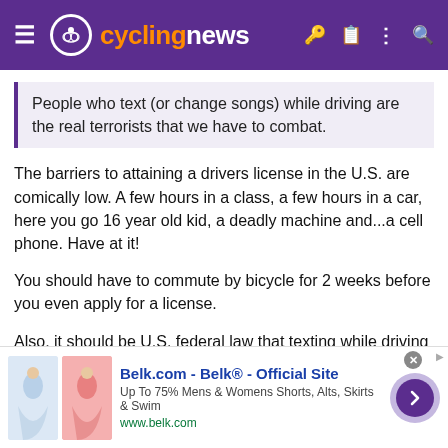cyclingnews
People who text (or change songs) while driving are the real terrorists that we have to combat.
The barriers to attaining a drivers license in the U.S. are comically low. A few hours in a class, a few hours in a car, here you go 16 year old kid, a deadly machine and...a cell phone. Have at it!
You should have to commute by bicycle for 2 weeks before you even apply for a license.
Also, it should be U.S. federal law that texting while driving is illegal and you MUST use a hands free device for your phone. It's insane that some states have these laws and others don't.
I'm not that old but I remember a time when cell phones didn't
[Figure (other): Advertisement banner for Belk.com showing clothing items (skirts, shorts). Text reads: Belk.com - Belk® - Official Site. Up To 75% Mens & Womens Shorts, Alts, Skirts & Swim. www.belk.com]